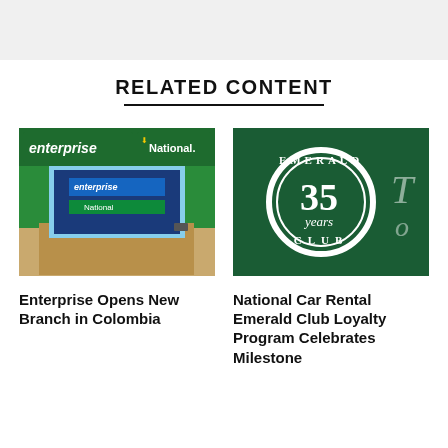[Figure (photo): Gray top banner area]
RELATED CONTENT
[Figure (photo): Enterprise and National car rental branch interior photo showing Enterprise and National branded signage with a screen display]
[Figure (logo): National Car Rental Emerald Club 35 years logo on green background]
Enterprise Opens New Branch in Colombia
National Car Rental Emerald Club Loyalty Program Celebrates Milestone